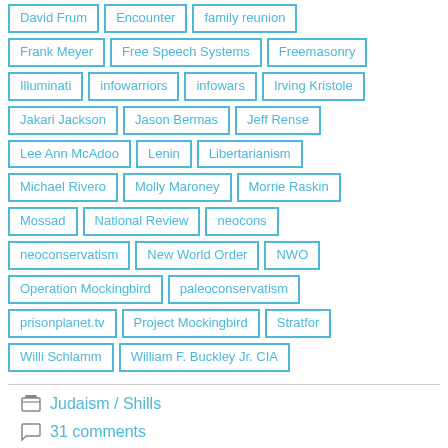David Frum, Encounter, family reunion, Frank Meyer, Free Speech Systems, Freemasonry, Illuminati, infowarriors, infowars, Irving Kristole, Jakari Jackson, Jason Bermas, Jeff Rense, Lee Ann McAdoo, Lenin, Libertarianism, Michael Rivero, Molly Maroney, Morrie Raskin, Mossad, National Review, neocons, neoconservatism, New World Order, NWO, Operation Mockingbird, paleoconservatism, prisonplanet.tv, Project Mockingbird, Stratfor, Willi Schlamm, William F. Buckley Jr. CIA
Judaism / Shills
31 comments